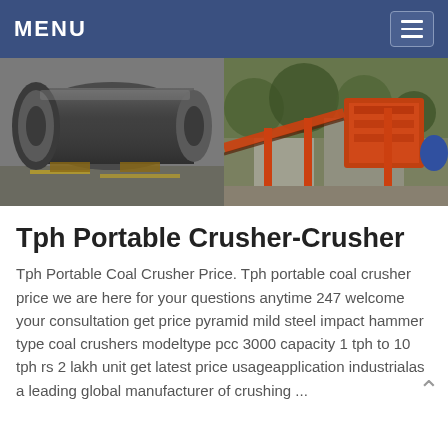MENU
[Figure (photo): Two side-by-side industrial equipment photos: left shows a large dark gray ball mill cylinder on a factory floor; right shows an orange/red impact crusher plant structure with conveyor belts outdoors.]
Tph Portable Crusher-Crusher
Tph Portable Coal Crusher Price. Tph portable coal crusher price we are here for your questions anytime 247 welcome your consultation get price pyramid mild steel impact hammer type coal crushers modeltype pcc 3000 capacity 1 tph to 10 tph rs 2 lakh unit get latest price usageapplication industrialas a leading global manufacturer of crushing ...